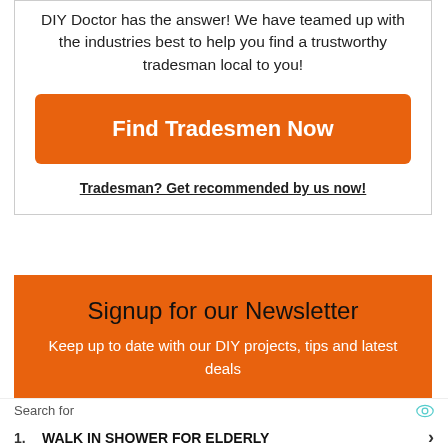DIY Doctor has the answer! We have teamed up with the industries best to help you find a trustworthy tradesman local to you!
Find Tradesmen Now
Tradesman? Get recommended by us now!
Signup for our Newsletter
Keep up to date with our DIY projects, tips and latest deals
Search for
1. WALK IN SHOWER FOR ELDERLY
2. BEST HEAT PUMPS